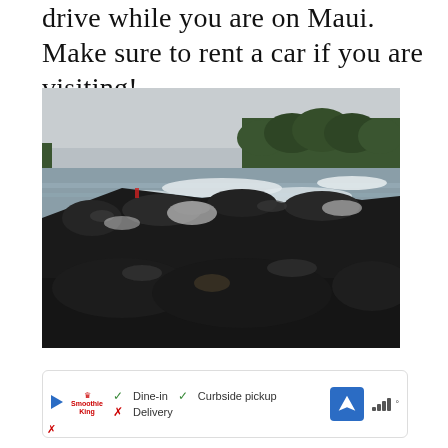drive while you are on Maui. Make sure to rent a car if you are visiting!
[Figure (photo): Coastal lava rock shoreline with crashing white waves and green tree line in background under overcast sky, Maui, Hawaii]
[Figure (screenshot): UI bar showing Smoothie King restaurant listing with Dine-in checkmark, Curbside pickup checkmark, Delivery X mark, navigation arrow icon, and signal/temperature indicator]